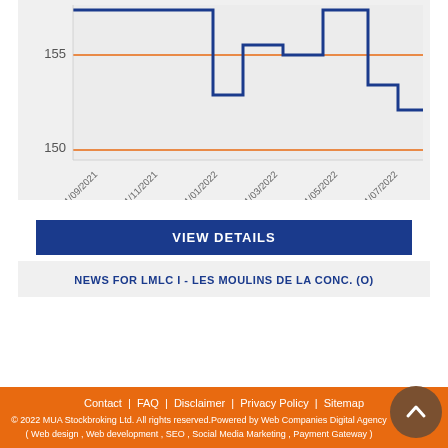[Figure (continuous-plot): Step line chart showing stock price for LMLC I - Les Moulins de la Conc. (O) from 01/09/2021 to 01/07/2022. Y-axis shows values around 150-155. An orange horizontal reference line is shown at approximately 150. The dark blue step line shows price movements across the date range.]
VIEW DETAILS
NEWS FOR LMLC I - LES MOULINS DE LA CONC. (O)
Contact  FAQ  Disclaimer  Privacy Policy  Sitemap
© 2022 MUA Stockbroking Ltd. All rights reserved.Powered by Web Companies Digital Agency ( Web design , Web development , SEO , Social Media Marketing , Payment Gateway )